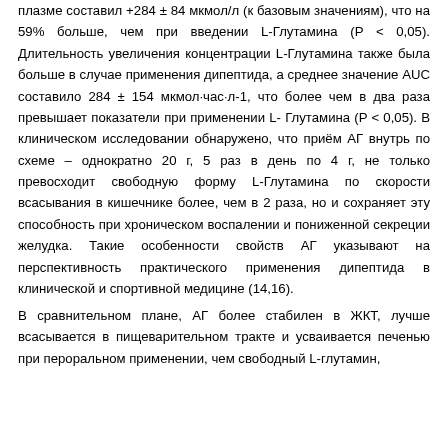плазме составил +284 ± 84 мкмол/л (к базовым значениям), что на 59% больше, чем при введении L-Глутамина (Р < 0,05). Длительность увеличения концентрации L-Глутамина также была больше в случае применения дипептида, а среднее значение AUC составило 284 ± 154 мкмол·час·л-1, что более чем в два раза превышает показатели при применении L-Глутамина (P < 0,05). В клиническом исследовании обнаружено, что приём АГ внутрь по схеме – однократно 20 г, 5 раз в день по 4 г, не только превосходит свободную форму L-Глутамина по скорости всасывания в кишечнике более, чем в 2 раза, но и сохраняет эту способность при хроническом воспалении и пониженной секреции желудка. Такие особенности свойств АГ указывают на перспективность практического применения дипептида в клинической и спортивной медицине (14,16).
В сравнительном плане, АГ более стабилен в ЖКТ, лучше всасывается в пищеварительном тракте и усваивается печенью при пероральном применении, чем свободный L-глутамин,